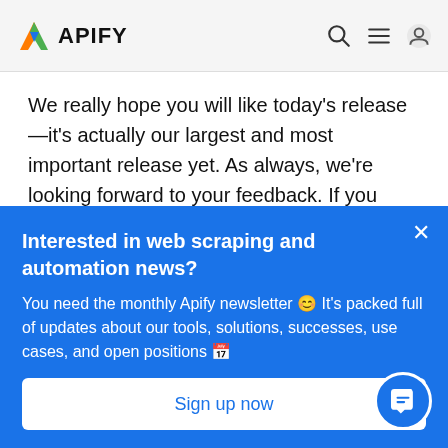APIFY
We really hope you will like today's release—it's actually our largest and most important release yet. As always, we're looking forward to your feedback. If you have any comments or question, just ping us at info@apify.com
Interested in web scraping and automation news?
You need the monthly Apify newsletter 😊 It's packed full of updates about our tools, solutions, successes, use cases, and open positions 🗓️
Sign up now